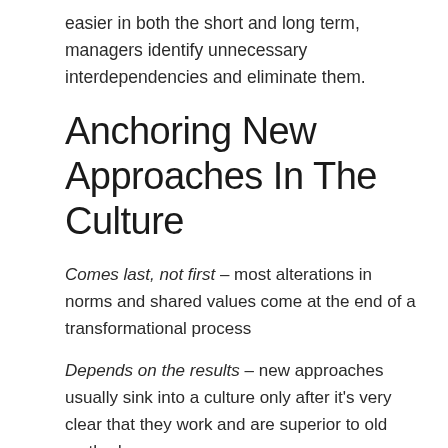easier in both the short and long term, managers identify unnecessary interdependencies and eliminate them.
Anchoring New Approaches In The Culture
Comes last, not first – most alterations in norms and shared values come at the end of a transformational process
Depends on the results – new approaches usually sink into a culture only after it's very clear that they work and are superior to old methods.